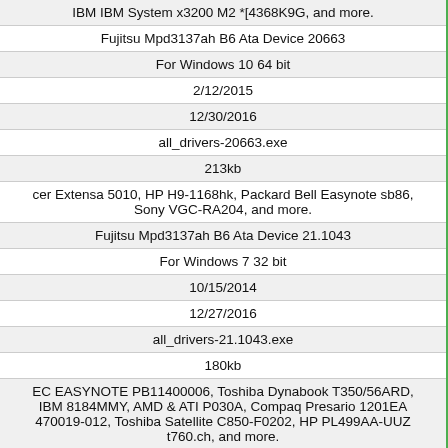| IBM IBM System x3200 M2 *[4368K9G, and more. |
| Fujitsu Mpd3137ah B6 Ata Device 20663 |
| For Windows 10 64 bit |
| 2/12/2015 |
| 12/30/2016 |
| all_drivers-20663.exe |
| 213kb |
| cer Extensa 5010, HP H9-1168hk, Packard Bell Easynote sb86, Sony VGC-RA204, and more. |
| Fujitsu Mpd3137ah B6 Ata Device 21.1043 |
| For Windows 7 32 bit |
| 10/15/2014 |
| 12/27/2016 |
| all_drivers-21.1043.exe |
| 180kb |
| EC EASYNOTE PB11400006, Toshiba Dynabook T350/56ARD, IBM 8184MMY, AMD & ATI P030A, Compaq Presario 1201EA 470019-012, Toshiba Satellite C850-F0202, HP PL499AA-UUZ t760.ch, and more. |
| Fujitsu Mpd3137ah B6 Ata Device 41.1767 |
| For Windows 7 64 bit |
| 8/22/2014 |